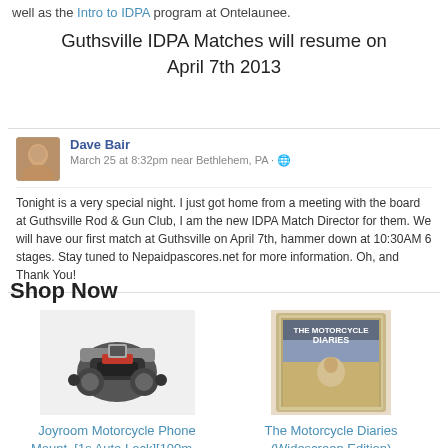well as the Intro to IDPA program at Ontelaunee.
Guthsville IDPA Matches will resume on April 7th 2013
[Figure (photo): Facebook-style social post from Dave Bair, dated March 25 at 8:32pm near Bethlehem, PA, with avatar photo of user, announcing becoming new IDPA Match Director at Guthsville Rod & Gun Club]
Tonight is a very special night. I just got home from a meeting with the board at Guthsville Rod & Gun Club, I am the new IDPA Match Director for them. We will have our first match at Guthsville on April 7th, hammer down at 10:30AM 6 stages. Stay tuned to Nepaidpascores.net for more information. Oh, and Thank You!
Shop Now
[Figure (photo): Product image of Joyroom Motorcycle Phone Mount with motorcycle in background]
Joyroom Motorcycle Phone Mount, [1s Auto Lock][100m...
[Figure (photo): DVD cover of The Motorcycle Diaries (Widescreen Edition)]
The Motorcycle Diaries (Widescreen Edition)